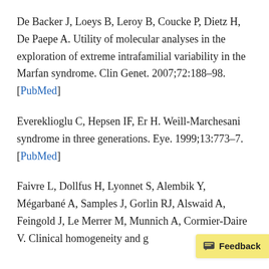De Backer J, Loeys B, Leroy B, Coucke P, Dietz H, De Paepe A. Utility of molecular analyses in the exploration of extreme intrafamilial variability in the Marfan syndrome. Clin Genet. 2007;72:188–98. [PubMed]
Evereklioglu C, Hepsen IF, Er H. Weill-Marchesani syndrome in three generations. Eye. 1999;13:773–7. [PubMed]
Faivre L, Dollfus H, Lyonnet S, Alembik Y, Mégarbané A, Samples J, Gorlin RJ, Alswaid A, Feingold J, Le Merrer M, Munnich A, Cormier-Daire V. Clinical homogeneity and ge...